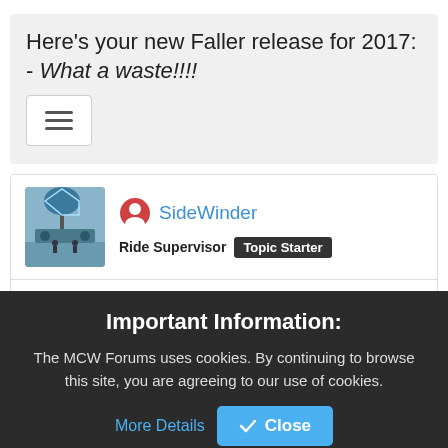Here's your new Faller release for 2017: - What a waste!!!!
[Figure (screenshot): Hamburger menu button icon with three horizontal lines]
[Figure (screenshot): Forum post by user SideWinder with avatar image, Ride Supervisor badge, Topic Starter badge, and post date Wednesday, February 1, 2017 4:34:58 PM #1]
Important Information:
The MCW Forums uses cookies. By continuing to browse this site, you are agreeing to our use of cookies. More Details  Close